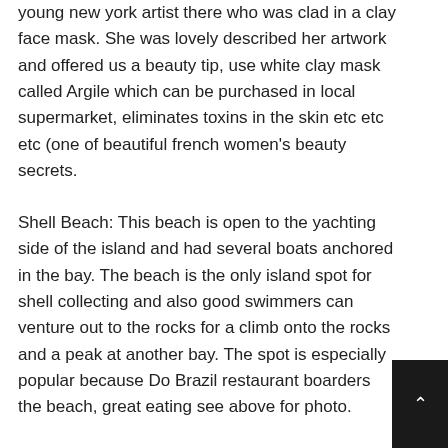young new york artist there who was clad in a clay face mask. She was lovely described her artwork and offered us a beauty tip, use white clay mask called Argile which can be purchased in local supermarket, eliminates toxins in the skin etc etc etc (one of beautiful french women's beauty secrets.
Shell Beach: This beach is open to the yachting side of the island and had several boats anchored in the bay. The beach is the only island spot for shell collecting and also good swimmers can venture out to the rocks for a climb onto the rocks and a peak at another bay. The spot is especially popular because Do Brazil restaurant boarders the beach, great eating see above for photo.